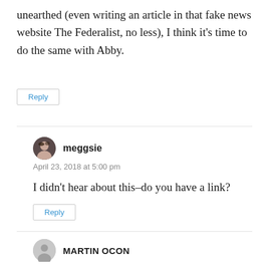unearthed (even writing an article in that fake news website The Federalist, no less), I think it's time to do the same with Abby.
Reply
meggsie
April 23, 2018 at 5:00 pm
I didn't hear about this–do you have a link?
Reply
MARTIN OCON